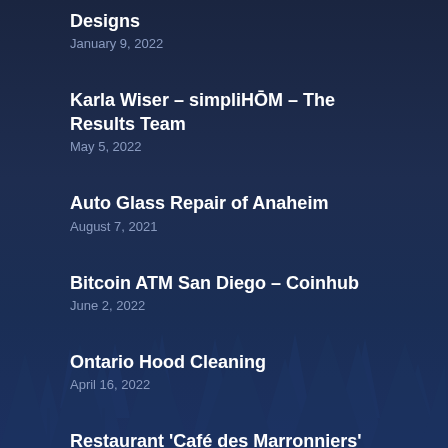Designs
January 9, 2022
Karla Wiser – simpliHŌM – The Results Team
May 5, 2022
Auto Glass Repair of Anaheim
August 7, 2021
Bitcoin ATM San Diego – Coinhub
June 2, 2022
Ontario Hood Cleaning
April 16, 2022
Restaurant 'Café des Marronniers'